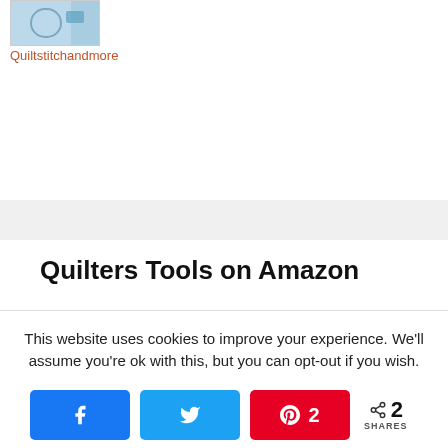[Figure (photo): Partial product image thumbnail, partially cropped at top]
Quiltstitchandmore
[Figure (other): Light gray horizontal band/divider]
Quilters Tools on Amazon
This website uses cookies to improve your experience. We'll assume you're ok with this, but you can opt-out if you wish.
[Figure (infographic): Social share buttons: Facebook, Twitter, Pinterest (2), and share count showing 2 SHARES]